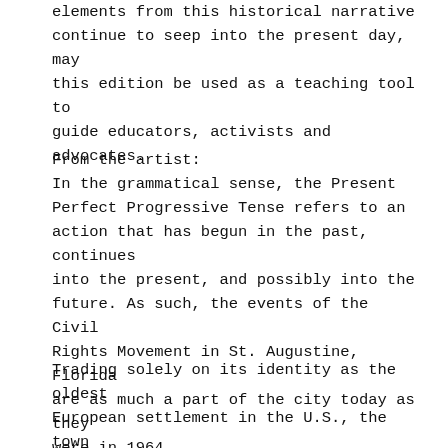elements from this historical narrative continue to seep into the present day, may this edition be used as a teaching tool to guide educators, activists and advocates.
From the artist:
In the grammatical sense, the Present Perfect Progressive Tense refers to an action that has begun in the past, continues into the present, and possibly into the future. As such, the events of the Civil Rights Movement in St. Augustine, Florida are as much a part of the city today as they were in 1964.
Trading solely on its identity as the oldest European settlement in the U.S., the town was readying itself to celebrate its 400th